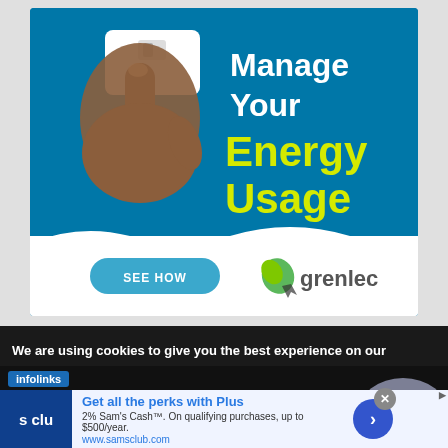[Figure (infographic): Grenlec energy management advertisement banner. Blue background with hand pressing a light switch image on left. Large white text 'Manage Your' and yellow/green text 'Energy Usage' on right. Wave graphic in green and yellow at bottom of blue section. White lower section with teal 'SEE HOW' button and Grenlec logo with green leaf icon.]
We are using cookies to give you the best experience on our
[Figure (logo): Infolinks logo in blue rectangle]
Get all the perks with Plus
2% Sam's Cash™. On qualifying purchases, up to $500/year.
www.samsclub.com